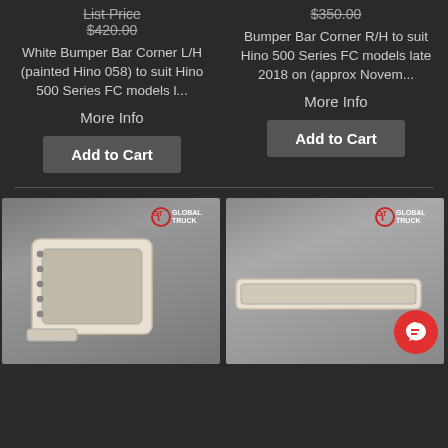List Price $420.00
$350.00
White Bumper Bar Corner L/H (painted Hino 058) to suit Hino 500 Series FC models l...
Bumper Bar Corner R/H to suit Hino 500 Series FC models late 2018 on (approx Novem...
More Info
More Info
Add to Cart
Add to Cart
[Figure (photo): White bumper bar corner part (L/H) on grey background with GTi Global Truck branding]
[Figure (photo): White bumper bar corner part (R/H) on grey background with GTi Global Truck branding]